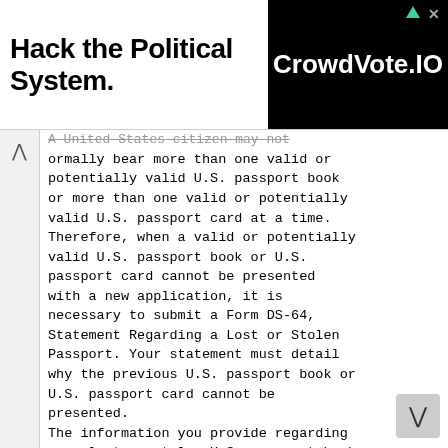[Figure (screenshot): Advertisement banner: 'Hack the Political System.' on left, CrowdVote.IO logo on black background on right, with green arrow and X close button]
A United States citizen may not normally bear more than one valid or potentially valid U.S. passport book or more than one valid or potentially valid U.S. passport card at a time. Therefore, when a valid or potentially valid U.S. passport book or U.S. passport card cannot be presented with a new application, it is necessary to submit a Form DS-64, Statement Regarding a Lost or Stolen Passport. Your statement must detail why the previous U.S. passport book or U.S. passport card cannot be presented. The information you provide regarding your lost or stolen U.S. passport book or passport card will be placed into our Consular Lost or Stolen